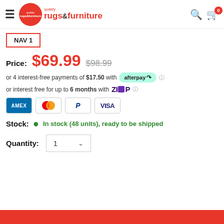quality rugs & furniture
[Figure (logo): Quality Rugs & Furniture logo - red circle with white text, brand name in red]
NAV 1
Price: $69.99  $98.99
or 4 interest-free payments of $17.50 with afterpay
or interest free for up to 6 months with Zip
[Figure (logo): Payment method icons: AMEX, Mastercard, PayPal, VISA]
Stock: In stock (48 units), ready to be shipped
Quantity: 1